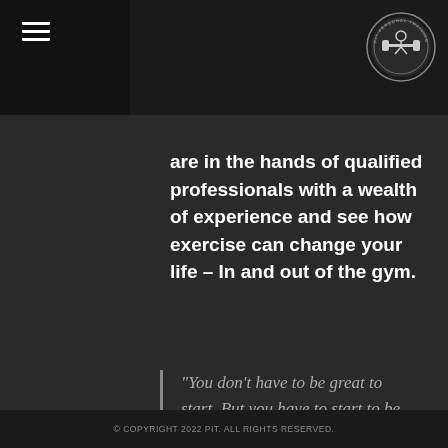≡ [hamburger menu icon] [PIT logo]
are in the hands of qualified professionals with a wealth of experience and see how exercise can change your life – In and out of the gym.
“You don’t have to be great to start. But you have to start to be great” – Zig Ziglar.
© COPYRIGHT 2022 PIT. ALL RIGHTS RESERVED.